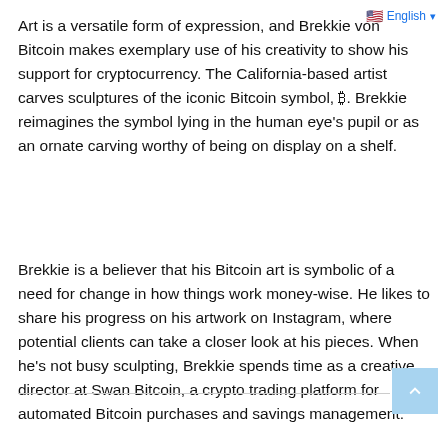🇺🇸 English
Art is a versatile form of expression, and Brekkie von Bitcoin makes exemplary use of his creativity to show his support for cryptocurrency. The California-based artist carves sculptures of the iconic Bitcoin symbol, ₿. Brekkie reimagines the symbol lying in the human eye's pupil or as an ornate carving worthy of being on display on a shelf.
Brekkie is a believer that his Bitcoin art is symbolic of a need for change in how things work money-wise. He likes to share his progress on his artwork on Instagram, where potential clients can take a closer look at his pieces. When he's not busy sculpting, Brekkie spends time as a creative director at Swan Bitcoin, a crypto trading platform for automated Bitcoin purchases and savings management.